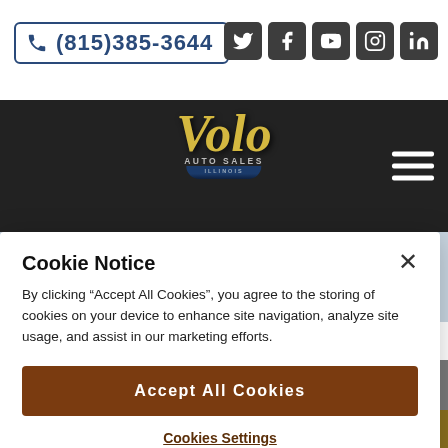(815)385-3644
[Figure (screenshot): Volo Auto Sales Illinois logo with gold script lettering on dark background with shield emblem]
SIGN UP TODAY
Cookie Notice
By clicking "Accept All Cookies", you agree to the storing of cookies on your device to enhance site navigation, analyze site usage, and assist in our marketing efforts.
Accept All Cookies
Cookies Settings